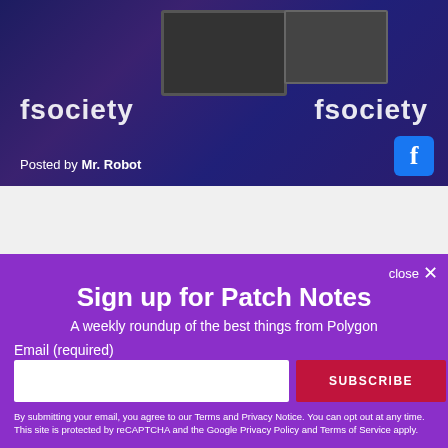[Figure (screenshot): Screenshot showing a darkened blue/purple tinted image of an fsociety hacker space with monitors and equipment. Text 'fsociety' visible on banners on left and right. Caption 'Posted by Mr. Robot' in lower left, Facebook icon in lower right.]
Posted by Mr. Robot
close ✕
Sign up for Patch Notes
A weekly roundup of the best things from Polygon
Email (required)
SUBSCRIBE
By submitting your email, you agree to our Terms and Privacy Notice. You can opt out at any time. This site is protected by reCAPTCHA and the Google Privacy Policy and Terms of Service apply.